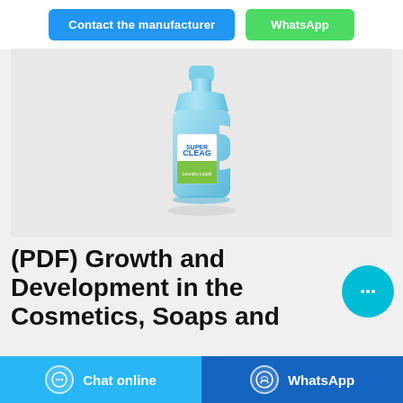[Figure (other): Two buttons: 'Contact the manufacturer' (blue) and 'WhatsApp' (green)]
[Figure (photo): A blue plastic laundry detergent bottle (Clean brand) with handle, label showing green meadow and product name, photographed on grey background]
(PDF) Growth and Development in the Cosmetics, Soaps and
[Figure (other): Circular cyan chat/message floating action button with ellipsis icon]
[Figure (other): Bottom navigation bar with 'Chat online' (light blue) and 'WhatsApp' (dark blue) buttons]